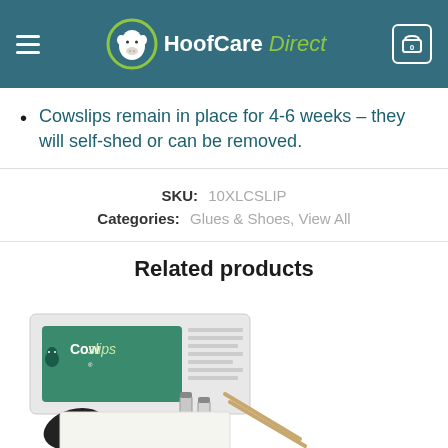HoofCare Direct
Cowslips remain in place for 4-6 weeks – they will self-shed or can be removed.
SKU: 10XLCSLIP
Categories: Glues & Shoes, View All
Related products
[Figure (photo): Cowslips product box with black rubber hoof blocks, small vials, and wooden applicator sticks on white background]